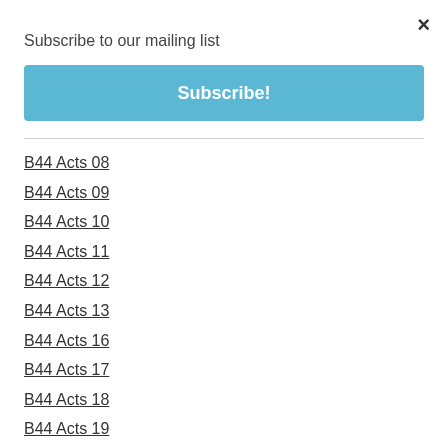×
Subscribe to our mailing list
Subscribe!
B44 Acts 08
B44 Acts 09
B44 Acts 10
B44 Acts 11
B44 Acts 12
B44 Acts 13
B44 Acts 16
B44 Acts 17
B44 Acts 18
B44 Acts 19
B44 Acts 24
B44 Acts 26
B44 Acts 27
B45 Romans